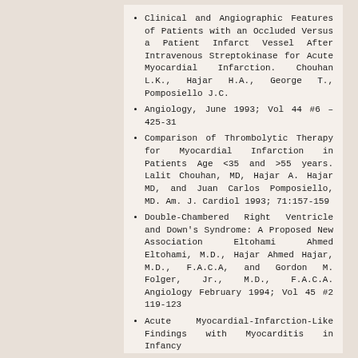Clinical and Angiographic Features of Patients with an Occluded Versus a Patient Infarct Vessel After Intravenous Streptokinase for Acute Myocardial Infarction. Chouhan L.K., Hajar H.A., George T., Pomposiello J.C.
Angiology, June 1993; Vol 44 #6 – 425-31
Comparison of Thrombolytic Therapy for Myocardial Infarction in Patients Age <35 and >55 years. Lalit Chouhan, MD, Hajar A. Hajar MD, and Juan Carlos Pomposiello, MD. Am. J. Cardiol 1993; 71:157-159
Double-Chambered Right Ventricle and Down's Syndrome: A Proposed New Association Eltohami Ahmed Eltohami, M.D., Hajar Ahmed Hajar, M.D., F.A.C.A, and Gordon M. Folger, Jr., M.D., F.A.C.A. Angiology February 1994; Vol 45 #2 119-123
Acute Myocardial-Infarction-Like Findings with Myocarditis in Infancy
Gordon M. Folger, Jr., M.D., F.A.C.A., Eltohami Ahmed Eltohami, M.D., and Hajar Ahmed Hajar, M.D. Angiology August 1994; Volume 45 #8 737-741
AH, Hajar· Risk Factor and Results of Myocardial Infarction in Patients of the Asian Subcontinent in Qatar. Chaikhouni A., Gehani A.A., Horak J.